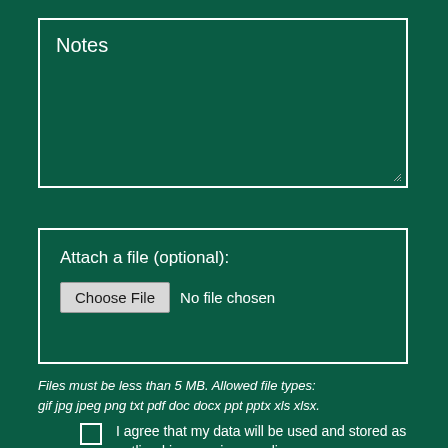Notes
Attach a file (optional):
Choose File  No file chosen
Files must be less than 5 MB. Allowed file types: gif jpg jpeg png txt pdf doc docx ppt pptx xls xlsx.
I agree that my data will be used and stored as outlined in our privacy policy